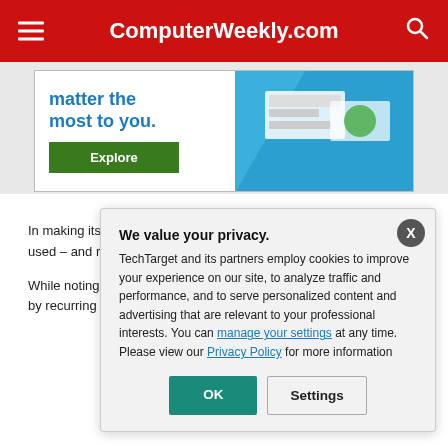ComputerWeekly.com
[Figure (screenshot): Advertisement banner with text 'matter the most to you.' in blue, a green Explore button, and an image on the right side with a blue background.]
In making its ana... traffic data, aggr... examined it for i... NS1's query log... used – and refle... month of queries...
While noting tha... multiple users fre... subject to many ... example, time-to... by recurring re...
We value your privacy. TechTarget and its partners employ cookies to improve your experience on our site, to analyze traffic and performance, and to serve personalized content and advertising that are relevant to your professional interests. You can manage your settings at any time. Please view our Privacy Policy for more information